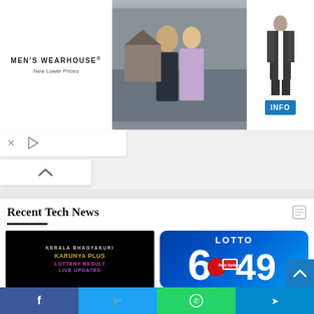[Figure (photo): Men's Wearhouse advertisement banner featuring couple in formal wear and a man in suit, with blue INFO button]
Recent Tech News
[Figure (photo): Kerala Bhagyakuri Karunya Plus Lottery Result Live Updates black background image]
Live: Kerala Karunya Plus Bhagyakuri KN 436 Lottery
[Figure (logo): Lotto 6/49 logo on blue background]
6/49 LOTTO RESULT Today, Thursday, August 25th, 2022 – Official PCSO